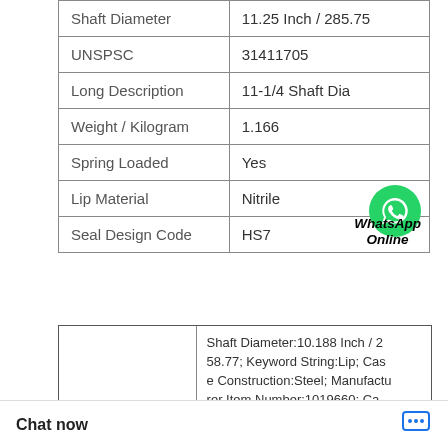| Attribute | Value |
| --- | --- |
| Shaft Diameter | 11.25 Inch / 285.75 |
| UNSPSC | 31411705 |
| Long Description | 11-1/4 Shaft Dia |
| Weight / Kilogram | 1.166 |
| Spring Loaded | Yes |
| Lip Material | Nitrile |
| Seal Design Code | HS7 |
[Figure (logo): WhatsApp Online badge - green phone icon circle with text WhatsApp Online below]
| QS-B12.15X21 | Shaft Diameter:10.188 Inch / 258.77; Keyword String:Lip; Case Construction:Steel; Manufacturer Item Number:1019660; Ca...als; Nominal Widt / 22.225; Spring Actual Width:0.87 |
Chat now